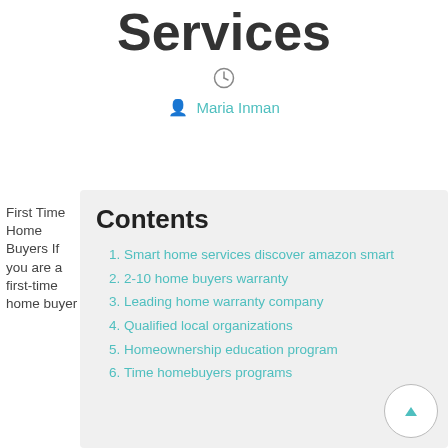Services
[Figure (other): Clock icon]
Maria Inman
First Time Home Buyers If you are a first-time home buyer
Contents
Smart home services discover amazon smart
2-10 home buyers warranty
Leading home warranty company
Qualified local organizations
Homeownership education program
Time homebuyers programs